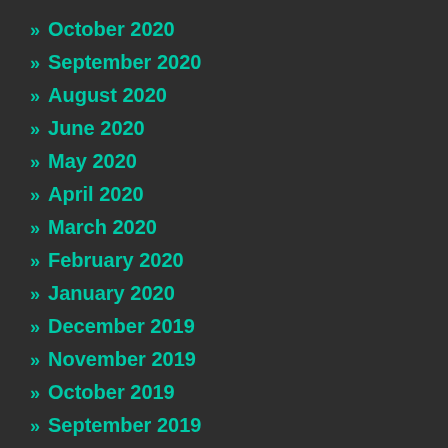» October 2020
» September 2020
» August 2020
» June 2020
» May 2020
» April 2020
» March 2020
» February 2020
» January 2020
» December 2019
» November 2019
» October 2019
» September 2019
» August 2019